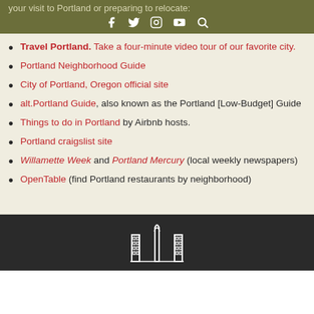your visit to Portland or preparing to relocate:
Travel Portland. Take a four-minute video tour of our favorite city.
Portland Neighborhood Guide
City of Portland, Oregon official site
alt.Portland Guide, also known as the Portland [Low-Budget] Guide
Things to do in Portland by Airbnb hosts.
Portland craigslist site
Willamette Week and Portland Mercury (local weekly newspapers)
OpenTable (find Portland restaurants by neighborhood)
[Figure (logo): Building/city logo icon in white on dark background footer]